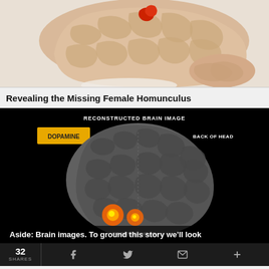[Figure (illustration): 3D rendered image of a human brain (lateral view) with tan/peach coloring showing cortical folds. A small red highlighted region is visible at the top near the midline. The brain is shown in profile against a white background.]
Revealing the Missing Female Homunculus
[Figure (photo): Reconstructed brain image scan on black background showing a gray 3D brain with orange/yellow highlighted activation spots near the front of the head (dopamine related). Labels: 'Reconstructed Brain Image' at top, 'Dopamine' in yellow box on left, 'Back of Head' label upper right, 'Front of Head' label lower center. Caption overlay: 'Aside: Brain images. To ground this story we'll look']
32 SHARES  [Facebook] [Twitter] [Email] [+]